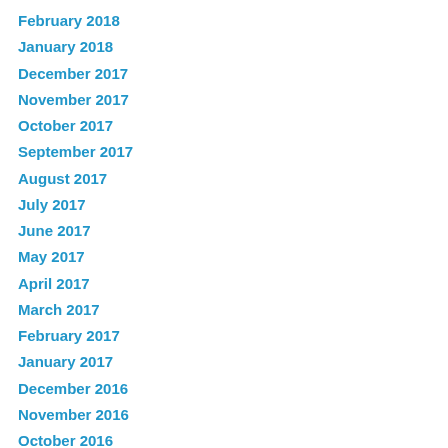February 2018
January 2018
December 2017
November 2017
October 2017
September 2017
August 2017
July 2017
June 2017
May 2017
April 2017
March 2017
February 2017
January 2017
December 2016
November 2016
October 2016
September 2016
August 2016
July 2016